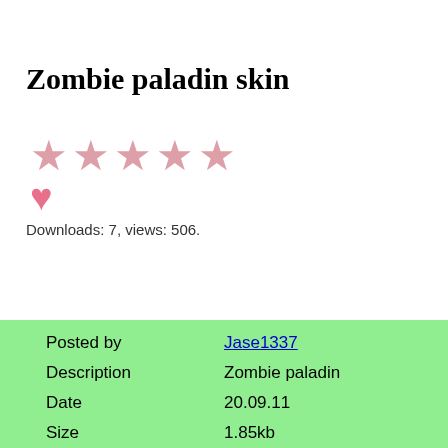Zombie paladin skin
[Figure (other): Five pink/rose colored star rating icons followed by a pink heart icon below]
Downloads: 7, views: 506.
| Posted by | Jase1337 |
| Description | Zombie paladin |
| Date | 20.09.11 |
| Size | 1.85kb |